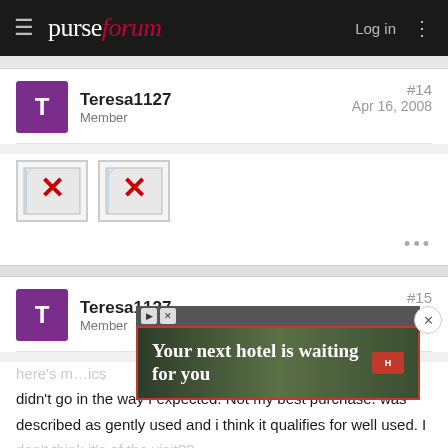purseforum — Log in
Teresa1127
Member
#14
Apr 16, 2008
[Figure (illustration): Two broken image placeholders with red X marks]
Teresa1127
Member
#15
Apr 16, 2008
[Figure (screenshot): Advertisement banner: 'Your next hotel is waiting for you' with hotel background image]
here's m...ics didn't go in the way I expected. Not my best purchase. was described as gently used and i think it qualifies for well used. I don't think it's of the visit??